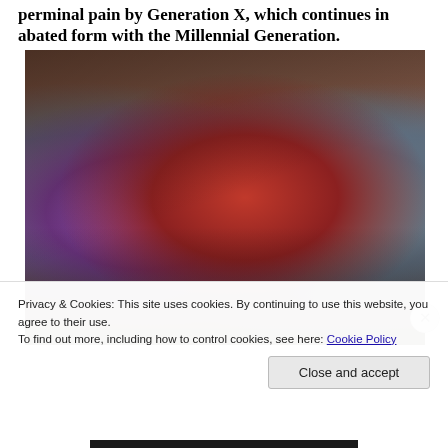perminal pain by Generation X, which continues in abated form with the Millennial Generation.
[Figure (photo): A dance scene showing multiple people dancing, with a central figure in a red jacket and red pants surrounded by other dancers in a dimly lit urban setting. Resembles the Thriller music video.]
Privacy & Cookies: This site uses cookies. By continuing to use this website, you agree to their use.
To find out more, including how to control cookies, see here: Cookie Policy